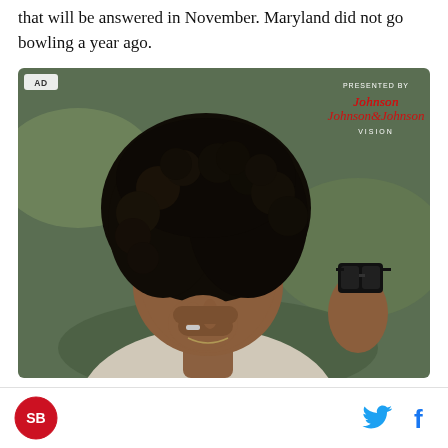that will be answered in November. Maryland did not go bowling a year ago.
[Figure (photo): Advertisement photo showing a woman with curly hair pinching the bridge of her nose and holding glasses in her other hand. The ad is presented by Johnson & Johnson Vision. An 'AD' label appears in the top left corner.]
SB Nation logo | Twitter icon | Facebook icon